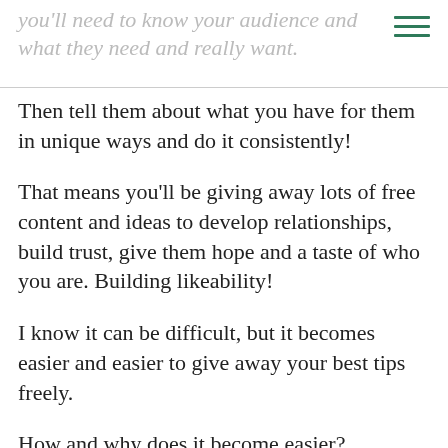you'll need to know your audience and what they need and really want.
Then tell them about what you have for them in unique ways and do it consistently!
That means you'll be giving away lots of free content and ideas to develop relationships, build trust, give them hope and a taste of who you are. Building likeability!
I know it can be difficult, but it becomes easier and easier to give away your best tips freely.
How and why does it become easier?